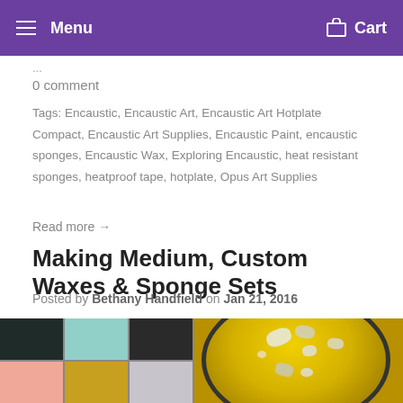Menu  Cart
...
0 comment
Tags: Encaustic, Encaustic Art, Encaustic Art Hotplate Compact, Encaustic Art Supplies, Encaustic Paint, encaustic sponges, Encaustic Wax, Exploring Encaustic, heat resistant sponges, heatproof tape, hotplate, Opus Art Supplies
Read more →
Making Medium, Custom Waxes & Sponge Sets
Posted by Bethany Handfield on Jan 21, 2016
[Figure (photo): Two photos side by side: left shows a grid of colored wax tiles (dark green, teal, black, pink, gold, lavender), right shows a golden bowl with wax chunks/melting wax.]